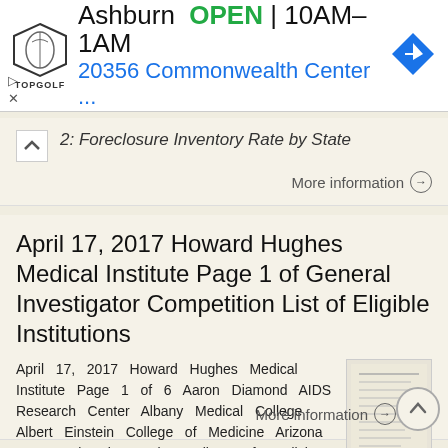[Figure (screenshot): Topgolf advertisement banner showing Ashburn location, OPEN status, hours 10AM-1AM, address 20356 Commonwealth Center, with navigation icon]
2: Foreclosure Inventory Rate by State
More information →
April 17, 2017 Howard Hughes Medical Institute Page 1 of General Investigator Competition List of Eligible Institutions
April 17, 2017 Howard Hughes Medical Institute Page 1 of 6 Aaron Diamond AIDS Research Center Albany Medical College Albert Einstein College of Medicine Arizona State University Baylor College of Medicine
More information →